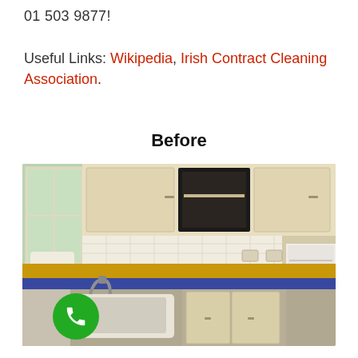01 503 9877!
Useful Links: Wikipedia, Irish Contract Cleaning Association.
Before
[Figure (photo): A dirty kitchen before cleaning, showing beige cabinets, a sink, yellow and blue tiled countertop, and an open empty refrigerator on the right. A green phone call button is overlaid in the bottom left corner.]